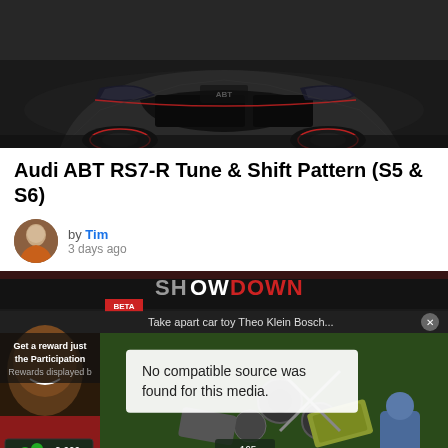[Figure (photo): Close-up of a dark gray/black Audi ABT RS7-R with red accents on wheels, front-facing angle in a garage setting]
Audi ABT RS7-R Tune & Shift Pattern (S5 & S6)
by Tim
3 days ago
[Figure (screenshot): Video player showing a game/app showdown screen with BETA label, text 'Take apart car toy Theo Klein Bosch...' and an error overlay reading 'No compatible source was found for this media.' with a reward panel showing 2,000 currency and car parts scattered on a green surface]